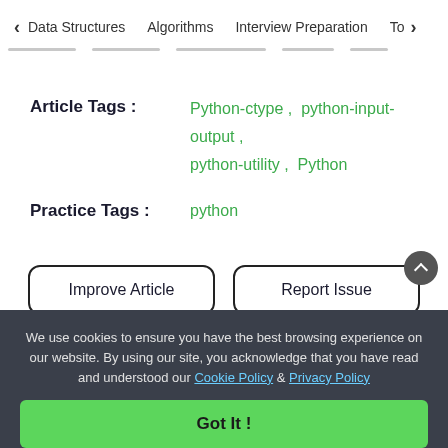< Data Structures   Algorithms   Interview Preparation   To>
Article Tags :   Python-ctype ,  python-input-output ,  python-utility ,  Python
Practice Tags :   python
Improve Article
Report Issue
We use cookies to ensure you have the best browsing experience on our website. By using our site, you acknowledge that you have read and understood our Cookie Policy & Privacy Policy
Got It !